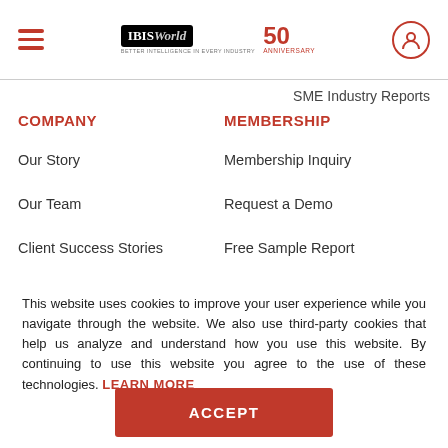[Figure (logo): IBISWorld logo with 50th anniversary badge and hamburger menu icon and user icon in header]
SME Industry Reports
COMPANY
MEMBERSHIP
Our Story
Membership Inquiry
Our Team
Request a Demo
Client Success Stories
Free Sample Report
This website uses cookies to improve your user experience while you navigate through the website. We also use third-party cookies that help us analyze and understand how you use this website. By continuing to use this website you agree to the use of these technologies. LEARN MORE
ACCEPT